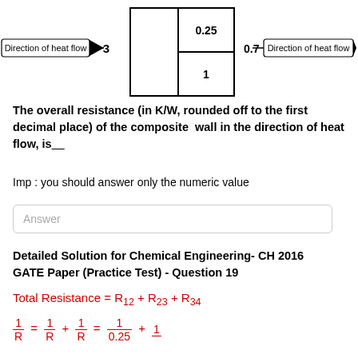[Figure (engineering-diagram): Composite wall heat flow diagram showing two sections. Left arrow labeled 'Direction of heat flow' pointing right, then a wall with left section width 3, right section split into top (0.25) and bottom (1), then right side value 0.7, then another right arrow labeled 'Direction of heat flow'.]
The overall resistance (in K/W, rounded off to the first decimal place) of the composite wall in the direction of heat flow, is___
Imp : you should answer only the numeric value
Answer
Detailed Solution for Chemical Engineering- CH 2016 GATE Paper (Practice Test) - Question 19